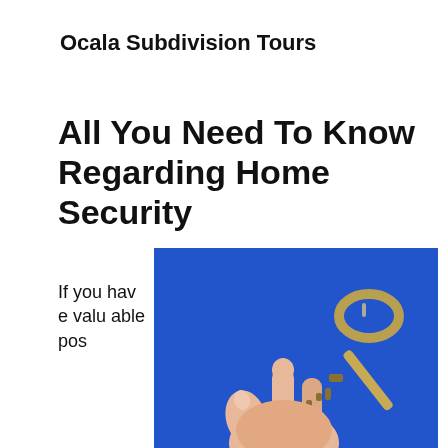Ocala Subdivision Tours
All You Need To Know Regarding Home Security
[Figure (photo): A hand holding a brass house key against a bright blue sky background]
If you have valuable pos